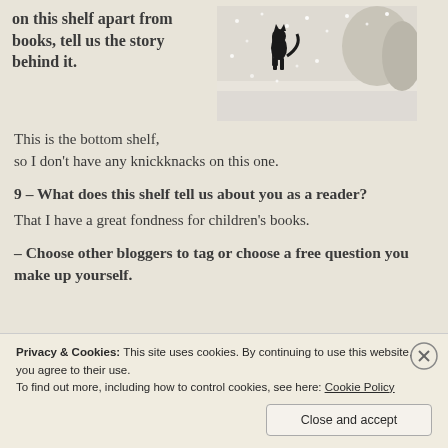on this shelf apart from books, tell us the story behind it.
[Figure (photo): A black cat or animal figure in a snowy winter scene with trees]
This is the bottom shelf, so I don’t have any knickknacks on this one.
9 – What does this shelf tell us about you as a reader?
That I have a great fondness for children’s books.
– Choose other bloggers to tag or choose a free question you make up yourself.
Privacy & Cookies: This site uses cookies. By continuing to use this website, you agree to their use.
To find out more, including how to control cookies, see here: Cookie Policy
Close and accept